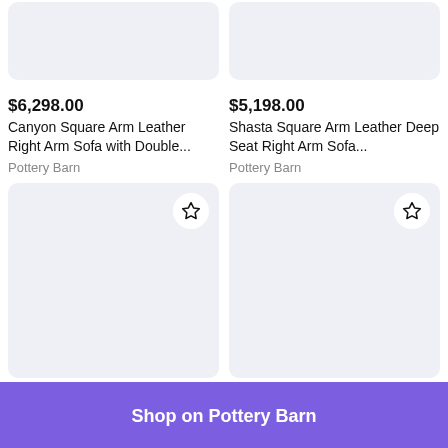[Figure (other): Cropped top portion of two product image placeholders (light gray rounded rectangles) visible at top of page]
$6,298.00
Canyon Square Arm Leather Right Arm Sofa with Double...
Pottery Barn
$5,198.00
Shasta Square Arm Leather Deep Seat Right Arm Sofa...
Pottery Barn
[Figure (other): Product image placeholder card (light gray rounded rectangle) with star/favorite button in top right corner]
[Figure (other): Product image placeholder card (light gray rounded rectangle) with star/favorite button in top right corner]
Shop on Pottery Barn